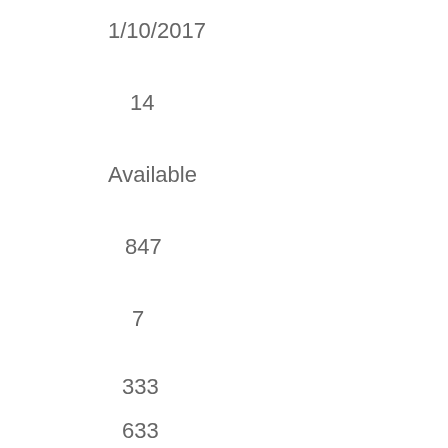1/10/2017
14
Available
847
7
333
633